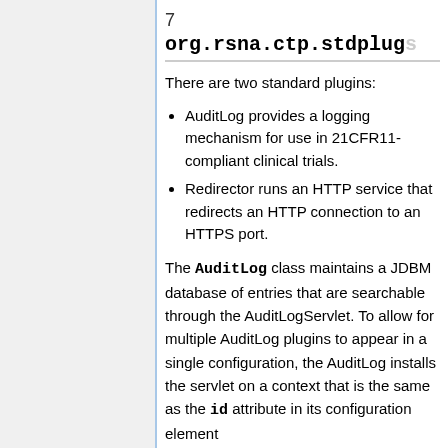7
org.rsna.ctp.stdplug
There are two standard plugins:
AuditLog provides a logging mechanism for use in 21CFR11-compliant clinical trials.
Redirector runs an HTTP service that redirects an HTTP connection to an HTTPS port.
The AuditLog class maintains a JDBM database of entries that are searchable through the AuditLogServlet. To allow for multiple AuditLog plugins to appear in a single configuration, the AuditLog installs the servlet on a context that is the same as the id attribute in its configuration element